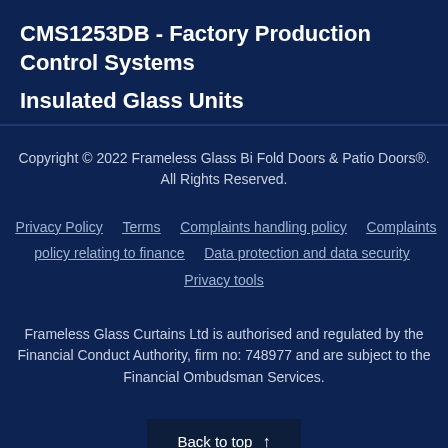CMS1253DB - Factory Production Control Systems Insulated Glass Units
Copyright © 2022 Frameless Glass Bi Fold Doors & Patio Doors®. All Rights Reserved.
Privacy Policy   Terms   Complaints handling policy   Complaints policy relating to finance   Data protection and data security   Privacy tools
Frameless Glass Curtains Ltd is authorised and regulated by the Financial Conduct Authority, firm no: 748977 and are subject to the Financial Ombudsman Services.
Back to top ↑